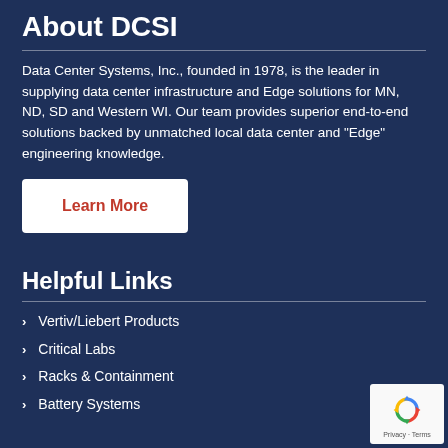About DCSI
Data Center Systems, Inc., founded in 1978, is the leader in supplying data center infrastructure and Edge solutions for MN, ND, SD and Western WI. Our team provides superior end-to-end solutions backed by unmatched local data center and “Edge” engineering knowledge.
Learn More
Helpful Links
Vertiv/Liebert Products
Critical Labs
Racks & Containment
Battery Systems
[Figure (logo): reCAPTCHA badge with blue recycling-style logo and Privacy - Terms text]